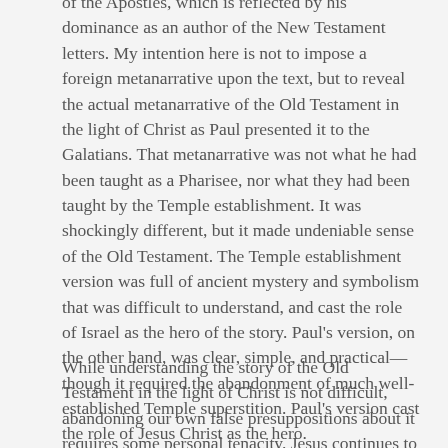of the Apostles, which is reflected by his dominance as an author of the New Testament letters. My intention here is not to impose a foreign metanarrative upon the text, but to reveal the actual metanarrative of the Old Testament in the light of Christ as Paul presented it to the Galatians. That metanarrative was not what he had been taught as a Pharisee, nor what they had been taught by the Temple establishment. It was shockingly different, but it made undeniable sense of the Old Testament. The Temple establishment version was full of ancient mystery and symbolism that was difficult to understand, and cast the role of Israel as the hero of the story. Paul's version, on the other hand, was clear, simple, and practical—though it required the abandonment of much well-established Temple superstition. Paul's version cast the role of Jesus Christ as the hero.
While understanding the story of the Old Testament in the light of Christ is not difficult, abandoning our own false presuppositions about it requires some personal tenacity. Jesus continues to challenge our ideas about who we are and our role